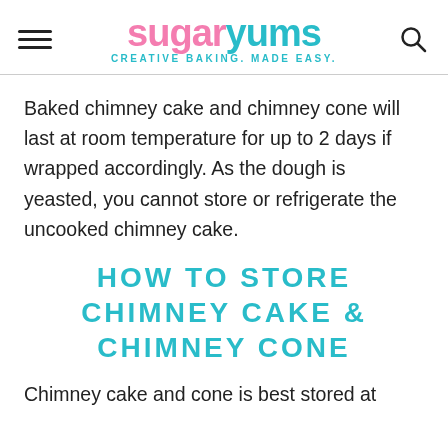sugaryums CREATIVE BAKING. MADE EASY.
Baked chimney cake and chimney cone will last at room temperature for up to 2 days if wrapped accordingly. As the dough is yeasted, you cannot store or refrigerate the uncooked chimney cake.
HOW TO STORE CHIMNEY CAKE & CHIMNEY CONE
Chimney cake and cone is best stored at